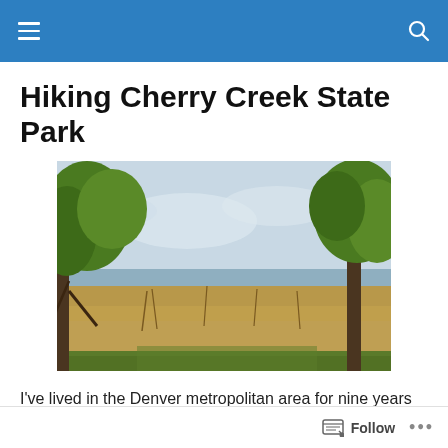Hiking Cherry Creek State Park
[Figure (photo): A landscape photo showing Cherry Creek State Park with green trees on the left and right, dry golden grassland in the foreground, a lake or reservoir visible in the middle distance, and a partly cloudy sky above.]
I've lived in the Denver metropolitan area for nine years